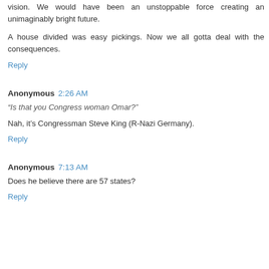vision. We would have been an unstoppable force creating an unimaginably bright future.
A house divided was easy pickings. Now we all gotta deal with the consequences.
Reply
Anonymous 2:26 AM
“Is that you Congress woman Omar?”
Nah, it’s Congressman Steve King (R-Nazi Germany).
Reply
Anonymous 7:13 AM
Does he believe there are 57 states?
Reply